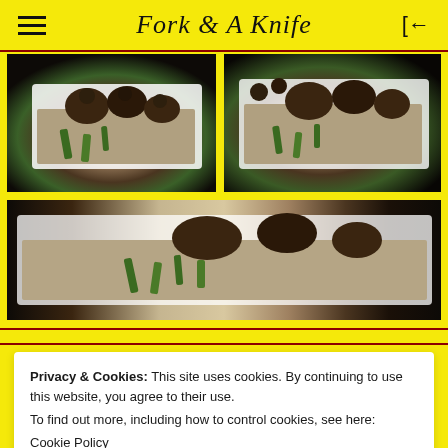Fork & A Knife
[Figure (photo): Top-left food photo: grilled chicken over rice with mushrooms and green onions on a white plate, dark background]
[Figure (photo): Top-right food photo: grilled chicken over rice with mushrooms and green onions on a white plate, close-up, dark background]
[Figure (photo): Bottom wide food photo: white plate with grilled chicken, rice, and green onions, wide crop, dark background]
Privacy & Cookies: This site uses cookies. By continuing to use this website, you agree to their use.
To find out more, including how to control cookies, see here:
Cookie Policy
Close and accept